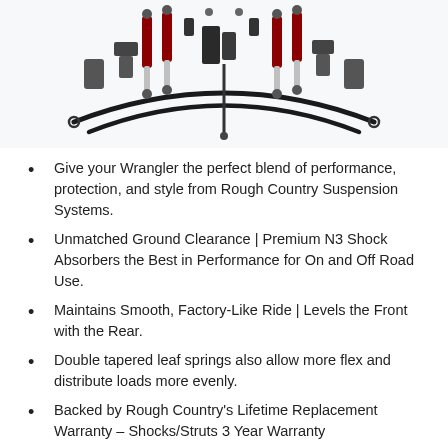[Figure (photo): Overhead product photo of a Rough Country suspension kit components including shocks with red/maroon accents, leaf springs, control arms, brackets and hardware arranged on a white background.]
Give your Wrangler the perfect blend of performance, protection, and style from Rough Country Suspension Systems.
Unmatched Ground Clearance | Premium N3 Shock Absorbers the Best in Performance for On and Off Road Use.
Maintains Smooth, Factory-Like Ride | Levels the Front with the Rear.
Double tapered leaf springs also allow more flex and distribute loads more evenly.
Backed by Rough Country's Lifetime Replacement Warranty – Shocks/Struts 3 Year Warranty